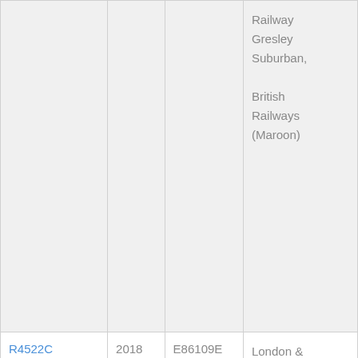| Code | Year | Number | Description |
| --- | --- | --- | --- |
|  |  |  | Railway Gresley Suburban, British Railways (Maroon) |
| R4522C | 2018 | E86109E | London & North East Railway Gresley Suburban, British Railways (Maroon) |
| R4523 | 2011 | 6135 | Great We Railway C Composit... |